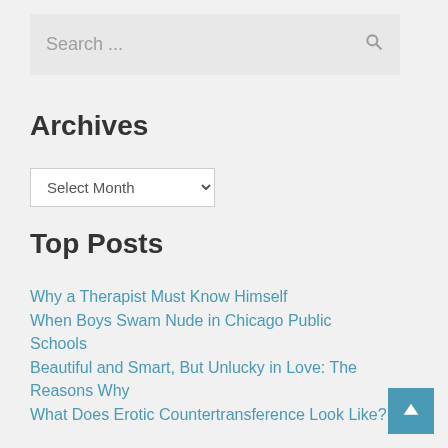Search ...
Archives
Select Month
Top Posts
Why a Therapist Must Know Himself
When Boys Swam Nude in Chicago Public Schools
Beautiful and Smart, But Unlucky in Love: The Reasons Why
What Does Erotic Countertransference Look Like?